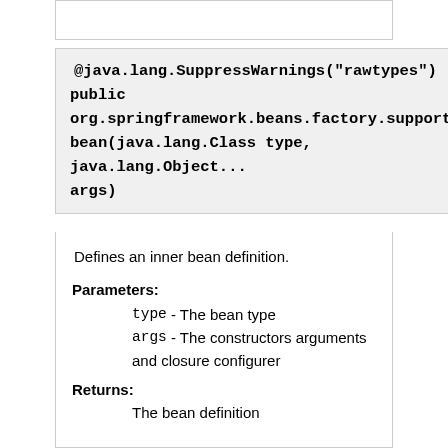[Figure (screenshot): Top border box (partial, truncated at top of page)]
@java.lang.SuppressWarnings("rawtypes") public org.springframework.beans.factory.support.Abs bean(java.lang.Class type, java.lang.Object... args)
Defines an inner bean definition.
Parameters:
type - The bean type
args - The constructors arguments and closure configurer
Returns:
The bean definition